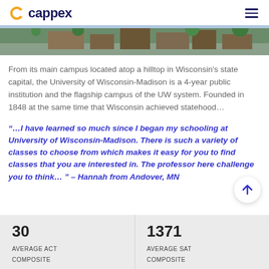cappex
[Figure (photo): Campus aerial photo showing rooftops and trees]
From its main campus located atop a hilltop in Wisconsin's state capital, the University of Wisconsin-Madison is a 4-year public institution and the flagship campus of the UW system. Founded in 1848 at the same time that Wisconsin achieved statehood...
“…I have learned so much since I began my schooling at University of Wisconsin-Madison. There is such a variety of classes to choose from which makes it easy for you to find classes that you are interested in. The professor here challenge you to think… ” – Hannah from Andover, MN
| 30 | AVERAGE ACT COMPOSITE |
| 1371 | AVERAGE SAT COMPOSITE |